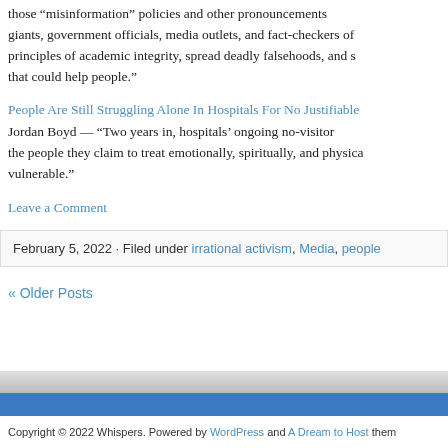those “misinformation” policies and other pronouncements giants, government officials, media outlets, and fact-checkers of principles of academic integrity, spread deadly falsehoods, and s that could help people.”
People Are Still Struggling Alone In Hospitals For No Justifiable
Jordan Boyd — “Two years in, hospitals’ ongoing no-visitor the people they claim to treat emotionally, spiritually, and physica vulnerable.”
Leave a Comment
February 5, 2022 · Filed under irrational activism, Media, people
« Older Posts
Copyright © 2022 Whispers. Powered by WordPress and A Dream to Host them